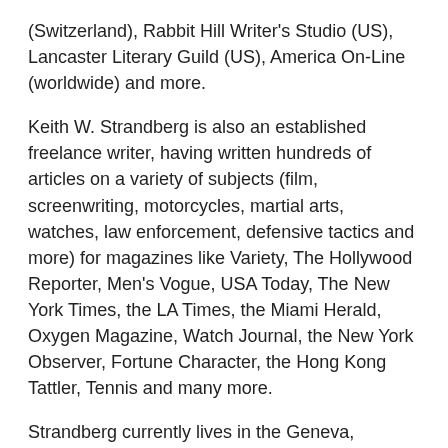(Switzerland), Rabbit Hill Writer's Studio (US), Lancaster Literary Guild (US), America On-Line (worldwide) and more.
Keith W. Strandberg is also an established freelance writer, having written hundreds of articles on a variety of subjects (film, screenwriting, motorcycles, martial arts, watches, law enforcement, defensive tactics and more) for magazines like Variety, The Hollywood Reporter, Men's Vogue, USA Today, The New York Times, the LA Times, the Miami Herald, Oxygen Magazine, Watch Journal, the New York Observer, Fortune Character, the Hong Kong Tattler, Tennis and many more.
Strandberg currently lives in the Geneva, Switzerland area.
Keith W. Strandberg has his own website, illustrating his career and his various projects: www.keithstrandberg.com